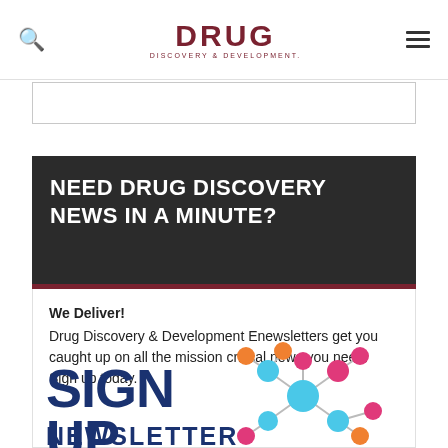DRUG DISCOVERY & DEVELOPMENT
NEED DRUG DISCOVERY NEWS IN A MINUTE?
We Deliver!
Drug Discovery & Development Enewsletters get you caught up on all the mission critical news you need. Sign up today.
[Figure (illustration): Sign Up for our Newsletter promotional graphic with large blue bold text 'SIGN UP FOR OUR NEWSLETTER' alongside a colorful 3D molecule illustration with cyan, pink, and orange spheres connected by sticks]